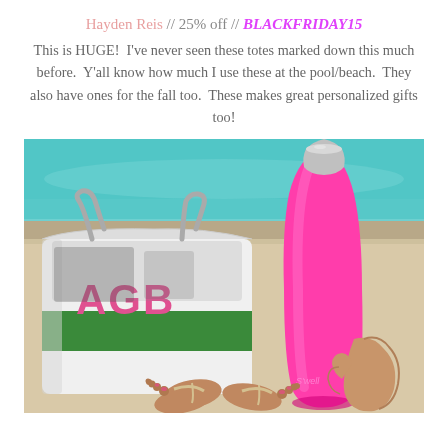Hayden Reis // 25% off // BLACKFRIDAY15
This is HUGE! I've never seen these totes marked down this much before. Y'all know how much I use these at the pool/beach. They also have ones for the fall too. These makes great personalized gifts too!
[Figure (photo): Photo of a white monogrammed tote bag with green stripe and pink 'AGB' letters beside a bright pink S'well water bottle, set at a poolside with sandy ground. A person's feet in flip flops are visible at the bottom center.]